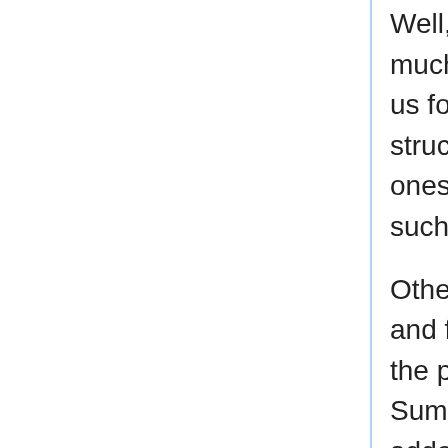Well, Foldable cannot just be given by toList, much as we might think of it as such. foldMap lets us fold over not only potentially right-infinite structures as with foldr, but potentially left-infinite ones (as with foldl) and even "both-infinite" ones such as rooted but infinitely branching trees!
Other methods in the Foldable class, such as foldl and foldr exist for historical reasons, and to allow the possibility of more efficient implementations. Sum, product, maximum, and minimum were added because their prelude versions were performed with a foldl, while their general versions with a foldMap. Moving them into the class allowed Prelude behaviour to be preserved in the case of lists without altering behaviour otherwise in the case of other structures. This has